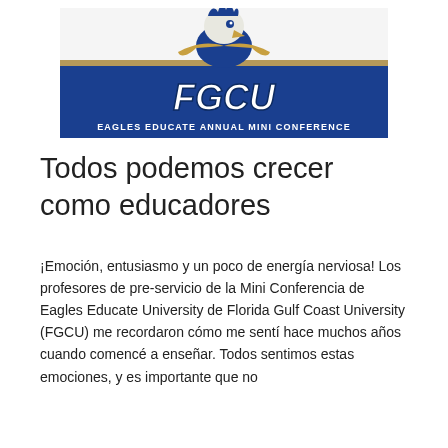[Figure (logo): FGCU (Florida Gulf Coast University) Eagles Educate Annual Mini Conference logo. Features an eagle mascot head above a blue and gold banner with stylized 'FGCU' text and tagline 'EAGLES EDUCATE ANNUAL MINI CONFERENCE'.]
Todos podemos crecer como educadores
¡Emoción, entusiasmo y un poco de energía nerviosa! Los profesores de pre-servicio de la Mini Conferencia de Eagles Educate University de Florida Gulf Coast University (FGCU) me recordaron cómo me sentí hace muchos años cuando comencé a enseñar. Todos sentimos estas emociones, y es importante que no